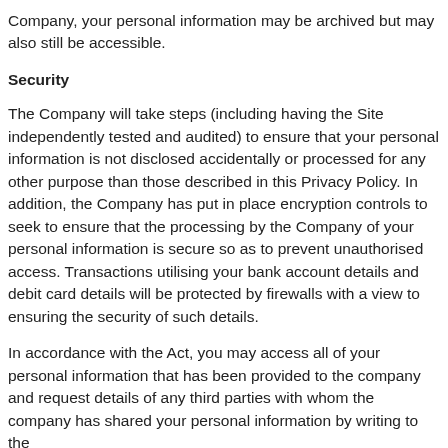Company, your personal information may be archived but may also still be accessible.
Security
The Company will take steps (including having the Site independently tested and audited) to ensure that your personal information is not disclosed accidentally or processed for any other purpose than those described in this Privacy Policy. In addition, the Company has put in place encryption controls to seek to ensure that the processing by the Company of your personal information is secure so as to prevent unauthorised access. Transactions utilising your bank account details and debit card details will be protected by firewalls with a view to ensuring the security of such details.
In accordance with the Act, you may access all of your personal information that has been provided to the company and request details of any third parties with whom the company has shared your personal information by writing to the